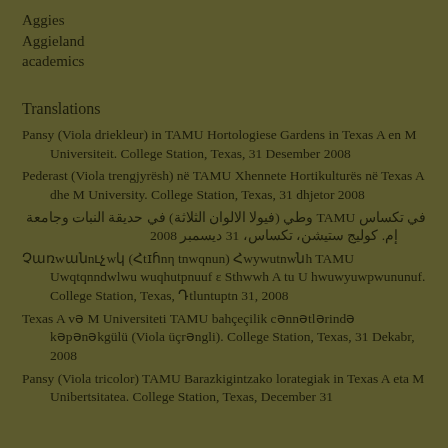Aggies
Aggieland
academics
Translations
Pansy (Viola driekleur) in TAMU Hortologiese Gardens in Texas A en M Universiteit. College Station, Texas, 31 Desember 2008
Pederast (Viola trengjyrësh) në TAMU Xhennete Hortikulturës në Texas A dhe M University. College Station, Texas, 31 dhjetor 2008
في تكساس TAMU وطي (فيولا الالوان الثلاثة) في حديقة النبات وجامعة إم. كوليج ستيشن، تكساس، 31 ديسمبر 2008
Չառwանnւչwկ (Հtɪɦnη tnwqnun) Հwywutnwնh TAMU Uwqtqnndwlwu wuqhutpnuuf ε Sthwwh A tu U hwuwyuwpwununuf. College Station, Texas, Դtluntuptn 31, 2008
Texas A və M Universiteti TAMU bahçeçilik cənnətlərində kəpənəkgülü (Viola üçrəngli). College Station, Texas, 31 Dekabr, 2008
Pansy (Viola tricolor) TAMU Barazkigintzako lorategiak in Texas A eta M Unibertsitatea. College Station, Texas, December 31